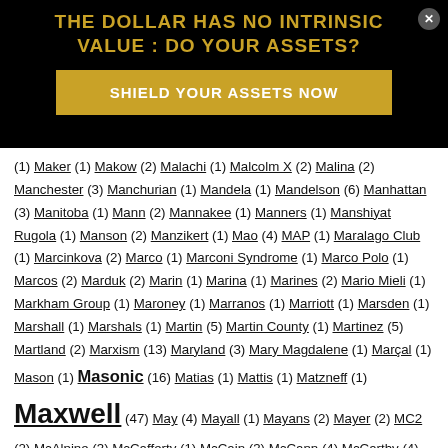THE DOLLAR HAS NO INTRINSIC VALUE : DO YOUR ASSETS?
SHIELD YOUR ASSETS NOW
(1) Maker (1) Makow (2) Malachi (1) Malcolm X (2) Malina (2) Manchester (3) Manchurian (1) Mandela (1) Mandelson (6) Manhattan (3) Manitoba (1) Mann (2) Mannakee (1) Manners (1) Manshiyat Rugola (1) Manson (2) Manzikert (1) Mao (4) MAP (1) Maralago Club (1) Marcinkova (2) Marco (1) Marconi Syndrome (1) Marco Polo (1) Marcos (2) Marduk (2) Marin (1) Marina (1) Marines (2) Mario Mieli (1) Markham Group (1) Maroney (1) Marranos (1) Marriott (1) Marsden (1) Marshall (1) Marshals (1) Martin (5) Martin County (1) Martinez (5) Martland (2) Marxism (13) Maryland (3) Mary Magdalene (1) Marçal (1) Mason (1) Masonic (16) Matias (1) Mattis (1) Matzneff (1) Maxwell (47) May (4) Mayall (1) Mayans (2) Mayer (2) MC2 (2) McAlpine (3) McCafferty (1) McCain (3) McCann (4) McCarthy (4) McChristal (1) McCone (1) McDonalds (2) McGhee Tyson (1) McGill University (2) McGinnis (2) McGowan (2) McGrath (2) McIntyre (1) McKelvie (1) Mckinley (1) McKinney (4) Mclean (1) McInerney